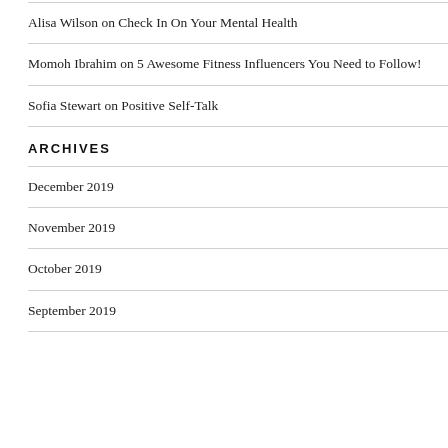Alisa Wilson on Check In On Your Mental Health
Momoh Ibrahim on 5 Awesome Fitness Influencers You Need to Follow!
Sofia Stewart on Positive Self-Talk
ARCHIVES
December 2019
November 2019
October 2019
September 2019